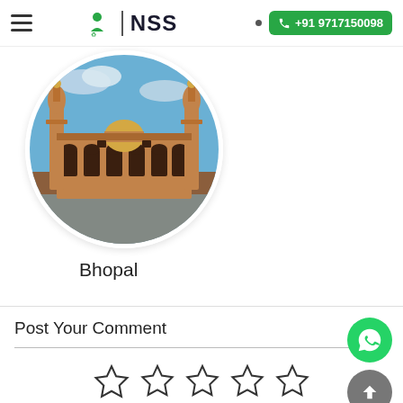NSS | +91 9717150098
[Figure (photo): Circular cropped photo of a historic mosque/monument in Bhopal]
Bhopal
Post Your Comment
[Figure (other): Five empty star rating icons in a row]
Join the discussion